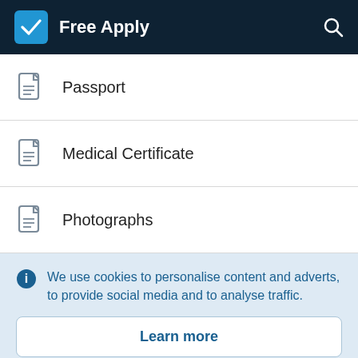Free Apply
Passport
Medical Certificate
Photographs
We use cookies to personalise content and adverts, to provide social media and to analyse traffic.
Learn more
Accept